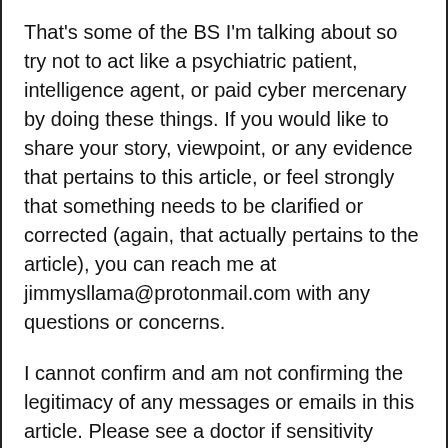That's some of the BS I'm talking about so try not to act like a psychiatric patient, intelligence agent, or paid cyber mercenary by doing these things. If you would like to share your story, viewpoint, or any evidence that pertains to this article, or feel strongly that something needs to be clarified or corrected (again, that actually pertains to the article), you can reach me at jimmysllama@protonmail.com with any questions or concerns.
I cannot confirm and am not confirming the legitimacy of any messages or emails in this article. Please see a doctor if sensitivity continues. If anyone asks, feel free to tell them that I work for Schoenberger, Fitzgibbon, Steven